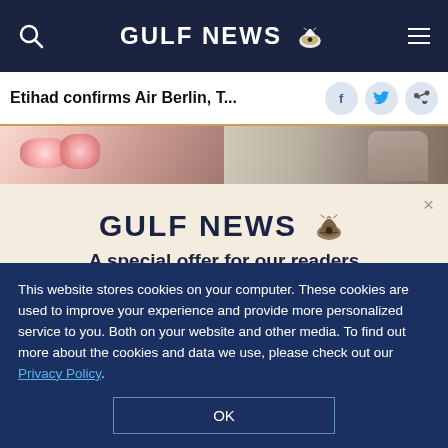GULF NEWS
Etihad confirms Air Berlin, T...
[Figure (photo): Two side-by-side photos partially visible at top of page]
GULF NEWS — A special offer for our readers
Get the two years All-Access subscription now
This website stores cookies on your computer. These cookies are used to improve your experience and provide more personalized service to you. Both on your website and other media. To find out more about the cookies and data we use, please check out our Privacy Policy.
OK